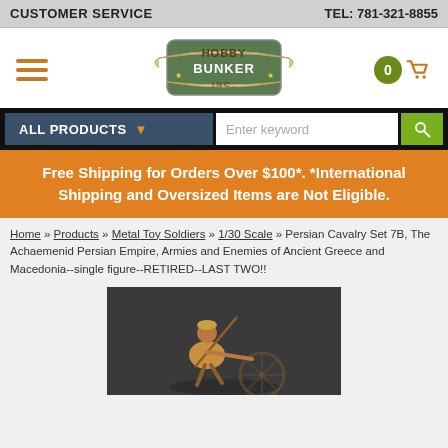CUSTOMER SERVICE    TEL: 781-321-8855
[Figure (logo): Hobby Bunker Inc. logo with banner ribbons and hamburger menu and shopping cart with 0 items]
ALL PRODUCTS ▼  Enter keyword [search]
Free Shipping for Orders Over $100*. *International Shipping and Oversized Items are Not Eligible.
Home » Products » Metal Toy Soldiers » 1/30 Scale » Persian Cavalry Set 7B, The Achaemenid Persian Empire, Armies and Enemies of Ancient Greece and Macedonia--single figure--RETIRED--LAST TWO!!
[Figure (photo): Metal toy soldier figure of a Persian cavalry soldier, painted, posed with a spear and shield on a dark background.]